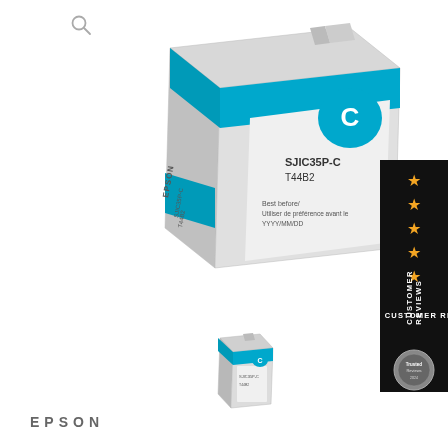[Figure (photo): Main Epson SJIC35P-C cyan ink cartridge (T44B2), large 3D product image showing the cartridge with cyan color band and label text including 'Best before / Utiliser de préférence avant le YYYY/MM/DD']
[Figure (photo): Small Epson ink cartridge thumbnail image shown below the main cartridge image]
[Figure (other): Customer Reviews panel on right side with black background, 4.5 gold stars, vertical text reading CUSTOMER REVIEWS, and a badge/seal at bottom]
EPSON